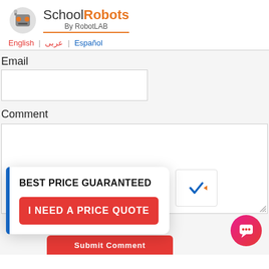[Figure (logo): SchoolRobots by RobotLAB logo with orange and grey robot head icon]
English | عربى | Español
Email
Comment
BEST PRICE GUARANTEED
I NEED A PRICE QUOTE
Submit Comment